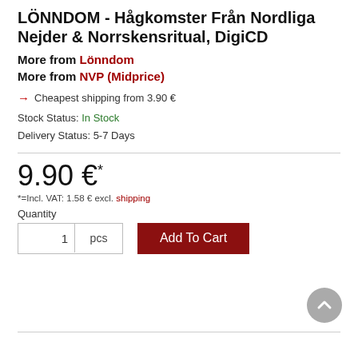LÖNNDOM - Hågkomster Från Nordliga Nejder & Norrskensritual, DigiCD
More from Lönndom
More from NVP (Midprice)
→ Cheapest shipping from 3.90 €
Stock Status: In Stock
Delivery Status: 5-7 Days
9.90 €*
*=Incl. VAT: 1.58 € excl. shipping
Quantity
1  pcs  Add To Cart